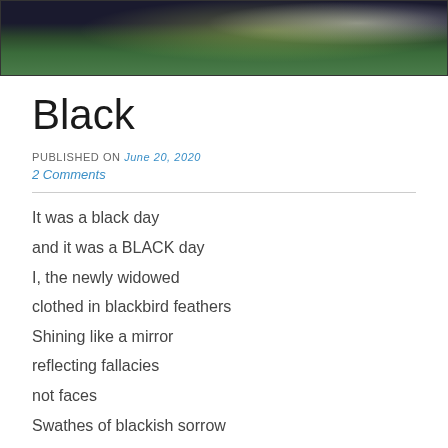[Figure (photo): A cropped photo showing a person in dark and green clothing, partially visible at the top of the page]
Black
PUBLISHED ON June 20, 2020
2 Comments
It was a black day
and it was a BLACK day
I, the newly widowed
clothed in blackbird feathers
Shining like a mirror
reflecting fallacies
not faces
Swathes of blackish sorrow
consumed my